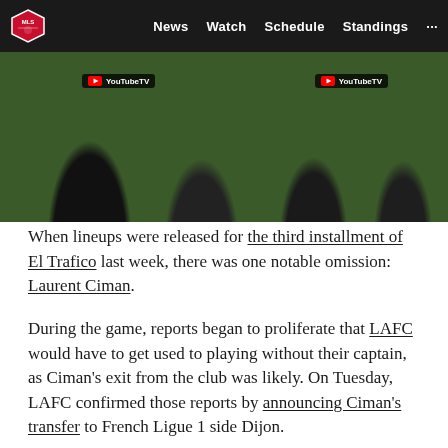MLS — News  Watch  Schedule  Standings  ...
[Figure (photo): Soccer players in black LAFC uniforms on field at night, with YouTube TV overlay badges]
When lineups were released for the third installment of El Trafico last week, there was one notable omission: Laurent Ciman.
During the game, reports began to proliferate that LAFC would have to get used to playing without their captain, as Ciman's exit from the club was likely. On Tuesday, LAFC confirmed those reports by announcing Ciman's transfer to French Ligue 1 side Dijon.